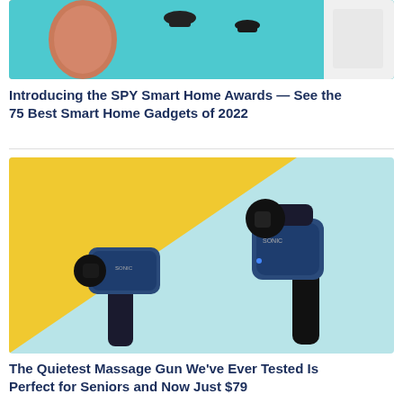[Figure (photo): Top portion of a product photo showing smart home gadgets on a teal/turquoise background with a terracotta pot and small black stands visible]
Introducing the SPY Smart Home Awards — See the 75 Best Smart Home Gadgets of 2022
[Figure (photo): Two blue massage guns (Sonic brand) shown on a split yellow and light teal background — one in foreground facing left, one in background facing right]
The Quietest Massage Gun We've Ever Tested Is Perfect for Seniors and Now Just $79